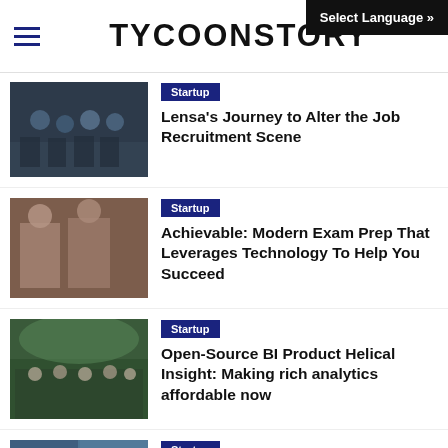TYCOONSTORY
Select Language »
[Figure (photo): Group photo of Lensa team members indoors]
Startup
Lensa's Journey to Alter the Job Recruitment Scene
[Figure (photo): Two men standing in front of a brick wall]
Startup
Achievable: Modern Exam Prep That Leverages Technology To Help You Succeed
[Figure (photo): Large group of people standing outdoors under trees]
Startup
Open-Source BI Product Helical Insight: Making rich analytics affordable now
[Figure (photo): Two men at an event with colorful background]
Startup
Making A Difference In The IT Consultancy Sector With New